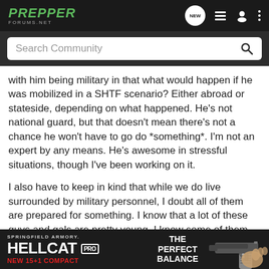PREPPER FORUMS.NET
Search Community
with him being military in that what would happen if he was mobilized in a SHTF scenario? Either abroad or stateside, depending on what happened. He's not national guard, but that doesn't mean there's not a chance he won't have to go do *something*. I'm not an expert by any means. He's awesome in stressful situations, though I've been working on it.
I also have to keep in kind that while we do live surrounded by military personnel, I doubt all of them are prepared for something. I know that a lot of these guys and gals are pretty young. I know some of them cause trouble -- for example, while waiting for our house, we lived in temporary housing and the people across the street like to drink a little too much really often. N... uld get into argu... y the
[Figure (illustration): Advertisement banner for Springfield Armory Hellcat Pro handgun. Text reads: SPRINGFIELD ARMORY. HELLCAT PRO. NEW 15+1 COMPACT. THE PERFECT BALANCE. Shows image of a black handgun.]